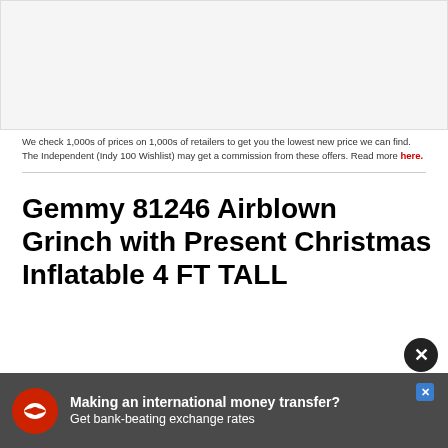[Figure (other): Top image area placeholder, white/light gray rectangular space for product image]
We check 1,000s of prices on 1,000s of retailers to get you the lowest new price we can find. The Independent (Indy 100 Wishlist) may get a commission from these offers. Read more here.
Gemmy 81246 Airblown Grinch with Present Christmas Inflatable 4 FT TALL
[Figure (photo): Illustration of the Grinch wearing a Santa hat and red suit, green face with yellow eyes and a smirk, partially visible from the chest up]
[Figure (other): Advertisement banner with red eagle logo: 'Making an international money transfer? Get bank-beating exchange rates']